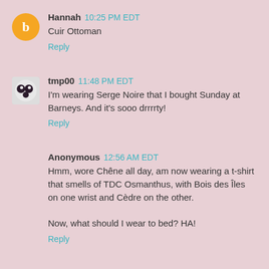Hannah 10:25 PM EDT
Cuir Ottoman
Reply
tmp00 11:48 PM EDT
I'm wearing Serge Noire that I bought Sunday at Barneys. And it's sooo drrrrty!
Reply
Anonymous 12:56 AM EDT
Hmm, wore Chêne all day, am now wearing a t-shirt that smells of TDC Osmanthus, with Bois des Îles on one wrist and Cèdre on the other.

Now, what should I wear to bed? HA!
Reply